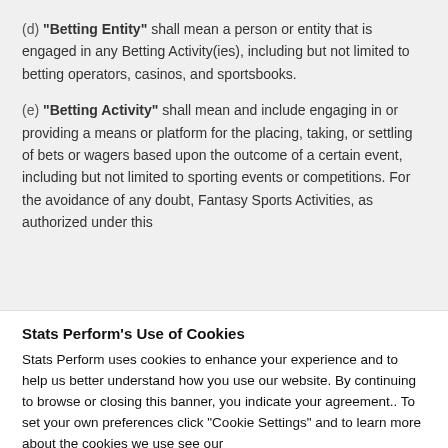(d) "Betting Entity" shall mean a person or entity that is engaged in any Betting Activity(ies), including but not limited to betting operators, casinos, and sportsbooks.
(e) "Betting Activity" shall mean and include engaging in or providing a means or platform for the placing, taking, or settling of bets or wagers based upon the outcome of a certain event, including but not limited to sporting events or competitions. For the avoidance of any doubt, Fantasy Sports Activities, as authorized under this
Stats Perform's Use of Cookies
Stats Perform uses cookies to enhance your experience and to help us better understand how you use our website. By continuing to browse or closing this banner, you indicate your agreement.. To set your own preferences click "Cookie Settings" and to learn more about the cookies we use see our Cookie Policy